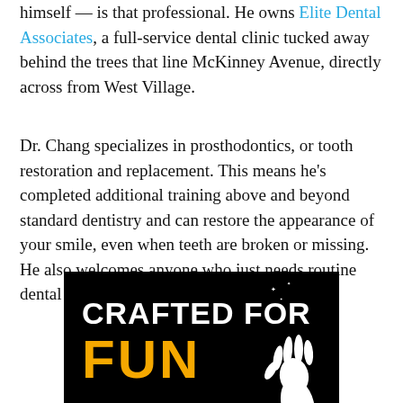himself — is that professional. He owns Elite Dental Associates, a full-service dental clinic tucked away behind the trees that line McKinney Avenue, directly across from West Village.
Dr. Chang specializes in prosthodontics, or tooth restoration and replacement. This means he's completed additional training above and beyond standard dentistry and can restore the appearance of your smile, even when teeth are broken or missing. He also welcomes anyone who just needs routine dental care, such as regular cleanings.
[Figure (illustration): Dark background promotional image with bold text reading 'CRAFTED FOR FUN' in white and yellow, with a white gloved hand illustration on the right side and small star decorations]